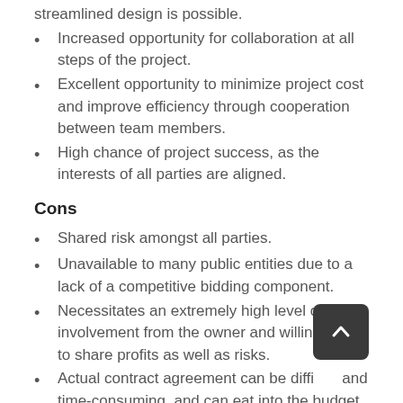streamlined design is possible.
Increased opportunity for collaboration at all steps of the project.
Excellent opportunity to minimize project cost and improve efficiency through cooperation between team members.
High chance of project success, as the interests of all parties are aligned.
Cons
Shared risk amongst all parties.
Unavailable to many public entities due to a lack of a competitive bidding component.
Necessitates an extremely high level of involvement from the owner and willingness to share profits as well as risks.
Actual contract agreement can be difficult and time-consuming, and can eat into the budget time allotment for completing the project.